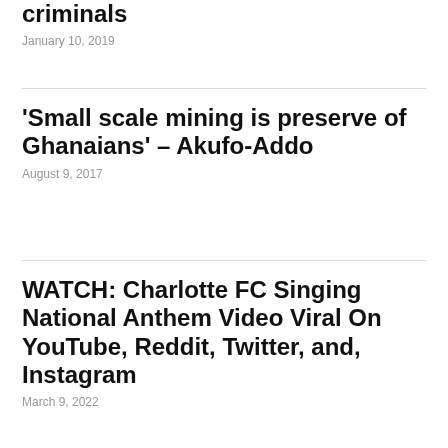criminals
January 10, 2019
‘Small scale mining is preserve of Ghanaians’ – Akufo-Addo
August 9, 2017
WATCH: Charlotte FC Singing National Anthem Video Viral On YouTube, Reddit, Twitter, and, Instagram
March 9, 2022